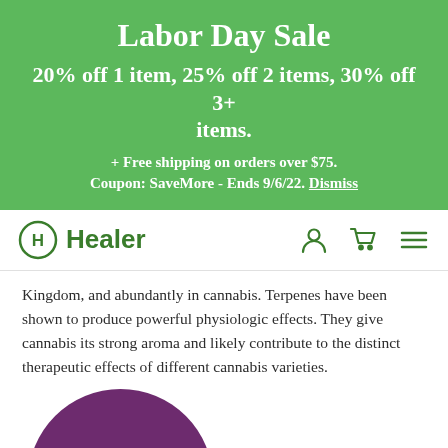Labor Day Sale
20% off 1 item, 25% off 2 items, 30% off 3+ items.
+ Free shipping on orders over $75.
Coupon: SaveMore - Ends 9/6/22. Dismiss
Healer
Kingdom, and abundantly in cannabis. Terpenes have been shown to produce powerful physiologic effects. They give cannabis its strong aroma and likely contribute to the distinct therapeutic effects of different cannabis varieties.
[Figure (illustration): Purple circle, partially cropped at bottom of page]